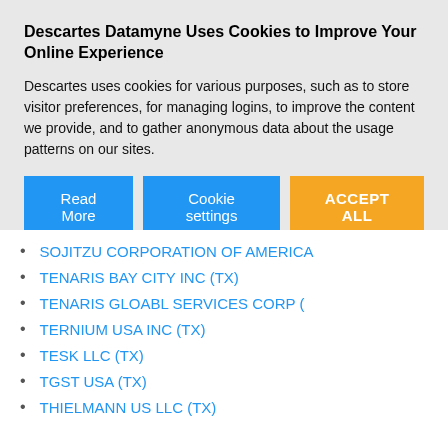Descartes Datamyne Uses Cookies to Improve Your Online Experience
Descartes uses cookies for various purposes, such as to store visitor preferences, for managing logins, to improve the content we provide, and to gather anonymous data about the usage patterns on our sites.
SOJITZU CORPORATION OF AMERICA
TENARIS BAY CITY INC (TX)
TENARIS GLOABL SERVICES CORP (
TERNIUM USA INC (TX)
TESK LLC (TX)
TGST USA (TX)
THIELMANN US LLC (TX)